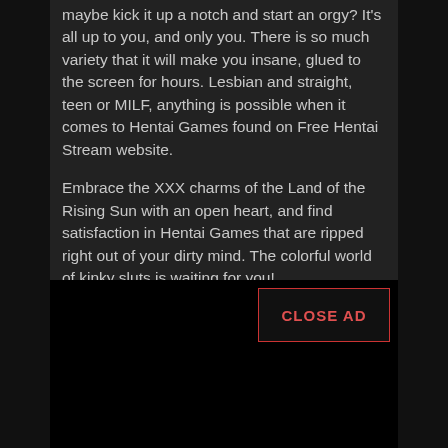maybe kick it up a notch and start an orgy? It's all up to you, and only you. There is so much variety that it will make you insane, glued to the screen for hours. Lesbian and straight, teen or MILF, anything is possible when it comes to Hentai Games found on Free Hentai Stream website.
Embrace the XXX charms of the Land of the Rising Sun with an open heart, and find satisfaction in Hentai Games that are ripped right out of your dirty mind. The colorful world of kinky sluts is waiting for you!
Our score for Jerkmate Sex Games is 7.5/10.
[Figure (other): Dark advertisement container with a CLOSE AD button in the top right corner with red text on a dark background.]